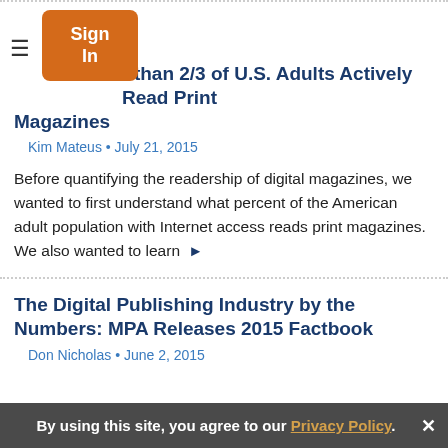More than 2/3 of U.S. Adults Actively Read Print Magazines
Kim Mateus • July 21, 2015
Before quantifying the readership of digital magazines, we wanted to first understand what percent of the American adult population with Internet access reads print magazines. We also wanted to learn ▶
The Digital Publishing Industry by the Numbers: MPA Releases 2015 Factbook
Don Nicholas • June 2, 2015
By using this site, you agree to our Privacy Policy.